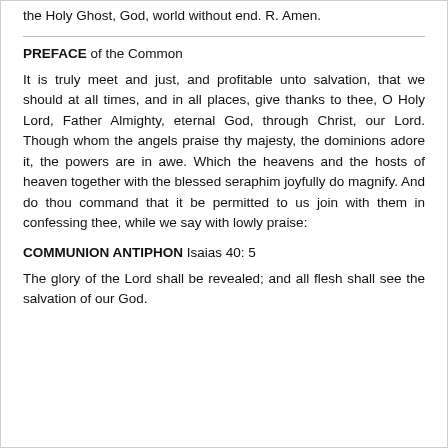the Holy Ghost, God, world without end. R. Amen.
PREFACE of the Common
It is truly meet and just, and profitable unto salvation, that we should at all times, and in all places, give thanks to thee, O Holy Lord, Father Almighty, eternal God, through Christ, our Lord. Though whom the angels praise thy majesty, the dominions adore it, the powers are in awe. Which the heavens and the hosts of heaven together with the blessed seraphim joyfully do magnify. And do thou command that it be permitted to us join with them in confessing thee, while we say with lowly praise:
COMMUNION ANTIPHON Isaias 40: 5
The glory of the Lord shall be revealed; and all flesh shall see the salvation of our God.